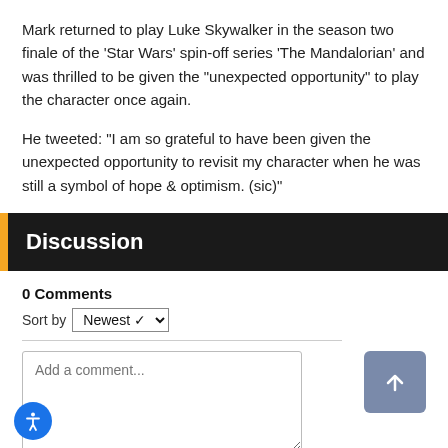Mark returned to play Luke Skywalker in the season two finale of the 'Star Wars' spin-off series 'The Mandalorian' and was thrilled to be given the "unexpected opportunity" to play the character once again.
He tweeted: "I am so grateful to have been given the unexpected opportunity to revisit my character when he was still a symbol of hope & optimism. (sic)"
Discussion
0 Comments
Sort by Newest